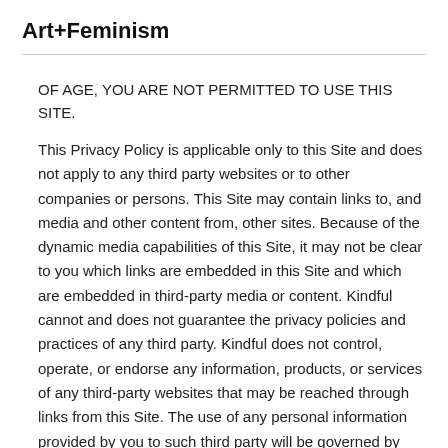Art+Feminism
OF AGE, YOU ARE NOT PERMITTED TO USE THIS SITE.
This Privacy Policy is applicable only to this Site and does not apply to any third party websites or to other companies or persons. This Site may contain links to, and media and other content from, other sites. Because of the dynamic media capabilities of this Site, it may not be clear to you which links are embedded in this Site and which are embedded in third-party media or content. Kindful cannot and does not guarantee the privacy policies and practices of any third party. Kindful does not control, operate, or endorse any information, products, or services of any third-party websites that may be reached through links from this Site. The use of any personal information provided by you to such third party will be governed by that party's privacy policy. If you are unsure whether a website is controlled, affiliated, or managed by Kindful, you should review the